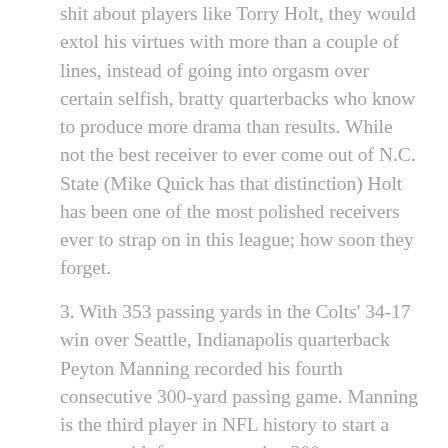shit about players like Torry Holt, they would extol his virtues with more than a couple of lines, instead of going into orgasm over certain selfish, bratty quarterbacks who know to produce more drama than results. While not the best receiver to ever come out of N.C. State (Mike Quick has that distinction) Holt has been one of the most polished receivers ever to strap on in this league; how soon they forget.
3. With 353 passing yards in the Colts' 34-17 win over Seattle, Indianapolis quarterback Peyton Manning recorded his fourth consecutive 300-yard passing game. Manning is the third player in NFL history to start a season with four consecutive 300-